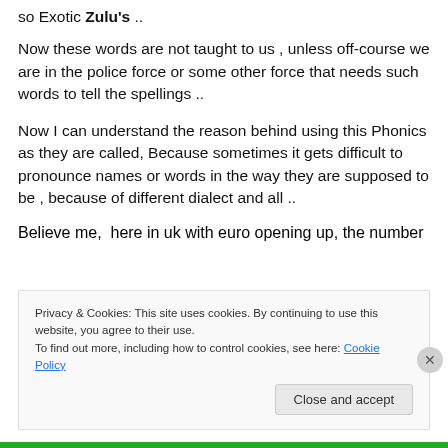so Exotic Zulu's ..
Now these words are not taught to us , unless off-course we are in the police force or some other force that needs such words to tell the spellings ..
Now I can understand the reason behind using this Phonics as they are called, Because sometimes it gets difficult to pronounce names or words in the way they are supposed to be , because of different dialect and all ..
Believe me,  here in uk with euro opening up, the number
Privacy & Cookies: This site uses cookies. By continuing to use this website, you agree to their use.
To find out more, including how to control cookies, see here: Cookie Policy
Close and accept